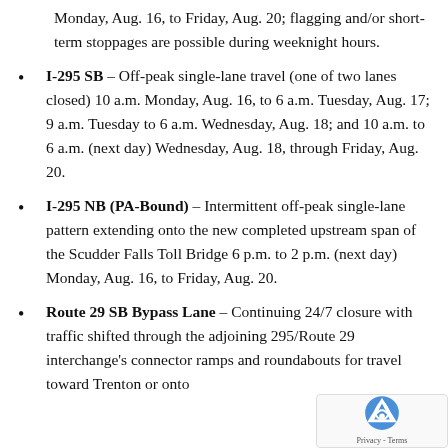Monday, Aug. 16, to Friday, Aug. 20; flagging and/or short-term stoppages are possible during weeknight hours.
I-295 SB – Off-peak single-lane travel (one of two lanes closed) 10 a.m. Monday, Aug. 16, to 6 a.m. Tuesday, Aug. 17; 9 a.m. Tuesday to 6 a.m. Wednesday, Aug. 18; and 10 a.m. to 6 a.m. (next day) Wednesday, Aug. 18, through Friday, Aug. 20.
I-295 NB (PA-Bound) – Intermittent off-peak single-lane pattern extending onto the new completed upstream span of the Scudder Falls Toll Bridge 6 p.m. to 2 p.m. (next day) Monday, Aug. 16, to Friday, Aug. 20.
Route 29 SB Bypass Lane – Continuing 24/7 closure with traffic shifted through the adjoining 295/Route 29 interchange's connector ramps and roundabouts for travel toward Trenton or onto...